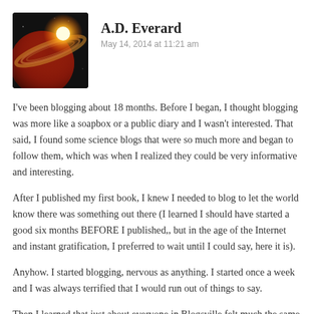[Figure (photo): Avatar image of a planet with rings and a glowing red-orange star in space, dark background]
A.D. Everard
May 14, 2014 at 11:21 am
I've been blogging about 18 months. Before I began, I thought blogging was more like a soapbox or a public diary and I wasn't interested. That said, I found some science blogs that were so much more and began to follow them, which was when I realized they could be very informative and interesting.
After I published my first book, I knew I needed to blog to let the world know there was something out there (I learned I should have started a good six months BEFORE I published,, but in the age of the Internet and instant gratification, I preferred to wait until I could say, here it is).
Anyhow. I started blogging, nervous as anything. I started once a week and I was always terrified that I would run out of things to say.
Then I learned that just about everyone in Blogsville felt much the same way, at least at first, and as I got to know people and relax, I